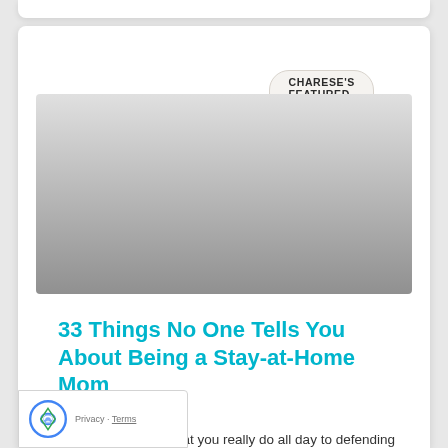CHARESE'S FEATURED ARTICLES
[Figure (photo): Gray gradient hero image placeholder for a featured article]
33 Things No One Tells You About Being a Stay-at-Home Mom
stLifeonline From what you really do all day to defending your choice to stay home, here's what